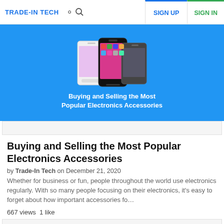TRADE-IN TECH | SIGN UP | SIGN IN
[Figure (screenshot): Hero banner with blue background showing three smartphones and text 'Buying and Selling the Most Popular Electronics Accessories']
Buying and Selling the Most Popular Electronics Accessories
by Trade-In Tech on December 21, 2020
Whether for business or fun, people throughout the world use electronics regularly. With so many people focusing on their electronics, it's easy to forget about how important accessories fo...
667 views  1 like